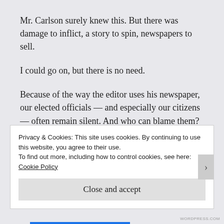Mr. Carlson surely knew this. But there was damage to inflict, a story to spin, newspapers to sell.
I could go on, but there is no need.
Because of the way the editor uses his newspaper, our elected officials — and especially our citizens — often remain silent. And who can blame them?
We are all Ms. Akers. And Mr. Carlson owes Ms. Akers and every citizen he enthusiastically hurts to sell newspapers, an apology:
Privacy & Cookies: This site uses cookies. By continuing to use this website, you agree to their use.
To find out more, including how to control cookies, see here: Cookie Policy
Close and accept